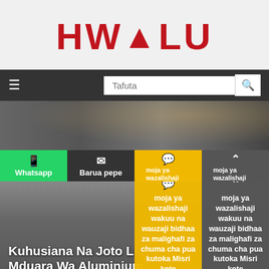[Figure (logo): HWALU logo in red bold text on light gray background]
Navigation bar with hamburger menu and search box with placeholder 'Tafuta'
[Figure (photo): Hero image showing stacked aluminum coils/rolls in a warehouse setting]
Whatsapp | Barua pepe | moja ya wazalishaji wakuu na wauzaji bidhaa za malighafi za chuma cha pua kutoka Misri kote ulimwenguni (x2)
Kuhusiana Na Joto Li Mduara Wa Aluminium